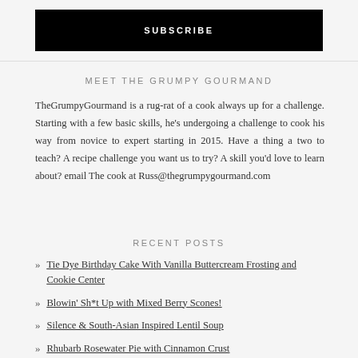SUBSCRIBE
MEET THE GRUMPY GOURMAND
TheGrumpyGourmand is a rug-rat of a cook always up for a challenge. Starting with a few basic skills, he's undergoing a challenge to cook his way from novice to expert starting in 2015. Have a thing a two to teach? A recipe challenge you want us to try? A skill you'd love to learn about? email The cook at Russ@thegrumpygourmand.com
RECENT POSTS
Tie Dye Birthday Cake With Vanilla Buttercream Frosting and Cookie Center
Blowin' Sh*t Up with Mixed Berry Scones!
Silence & South-Asian Inspired Lentil Soup
Rhubarb Rosewater Pie with Cinnamon Crust